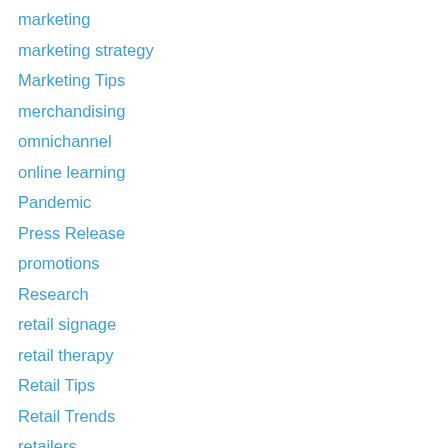marketing
marketing strategy
Marketing Tips
merchandising
omnichannel
online learning
Pandemic
Press Release
promotions
Research
retail signage
retail therapy
Retail Tips
Retail Trends
retailers
Sales
shopping
Shopping trends
social media
Social Media Explained